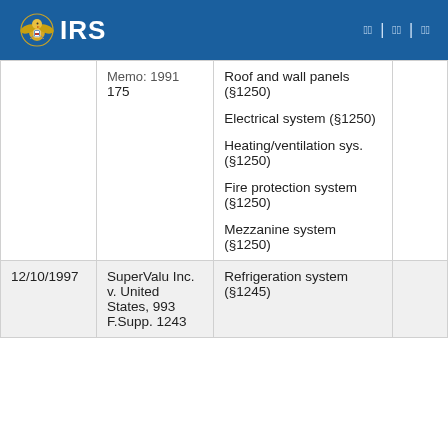IRS
| Date | Case/Memo | Item |  |
| --- | --- | --- | --- |
|  | Memo: 1991
175 | Roof and wall panels (§1250)
Electrical system (§1250)
Heating/ventilation sys. (§1250)
Fire protection system (§1250)
Mezzanine system (§1250) |  |
| 12/10/1997 | SuperValu Inc. v. United States, 993 F.Supp. 1243 | Refrigeration system (§1245) |  |